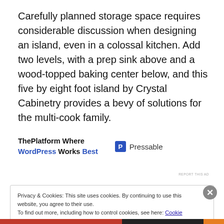Carefully planned storage space requires considerable discussion when designing an island, even in a colossal kitchen. Add two levels, with a prep sink above and a wood-topped baking center below, and this five by eight foot island by Crystal Cabinetry provides a bevy of solutions for the multi-cook family.
[Figure (other): Advertisement banner: 'ThePlatform Where WordPress Works Best' with Pressable logo]
Privacy & Cookies: This site uses cookies. By continuing to use this website, you agree to their use. To find out more, including how to control cookies, see here: Cookie Policy
Close and accept